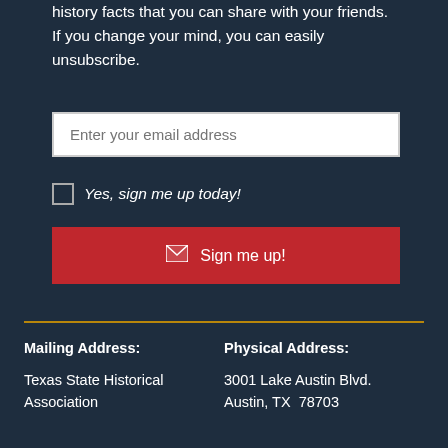history facts that you can share with your friends. If you change your mind, you can easily unsubscribe.
Enter your email address
Yes, sign me up today!
Sign me up!
Mailing Address:
Texas State Historical Association
Physical Address:
3001 Lake Austin Blvd. Austin, TX  78703